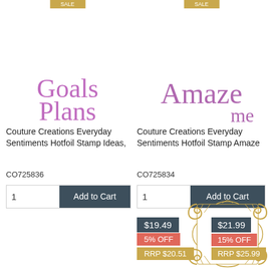[Figure (illustration): Cursive pink/purple script text reading 'Goals Plans' with a gold sale ribbon at top]
[Figure (illustration): Cursive pink/purple script text reading 'Amaze me' with a gold sale ribbon at top]
Couture Creations Everyday Sentiments Hotfoil Stamp Ideas,
Couture Creations Everyday Sentiments Hotfoil Stamp Amaze
CO725836
CO725834
1   Add to Cart
1   Add to Cart
[Figure (illustration): Gold ornamental swirl border/frame die cut]
$19.49
5% OFF
RRP $20.51
$21.99
15% OFF
RRP $25.99